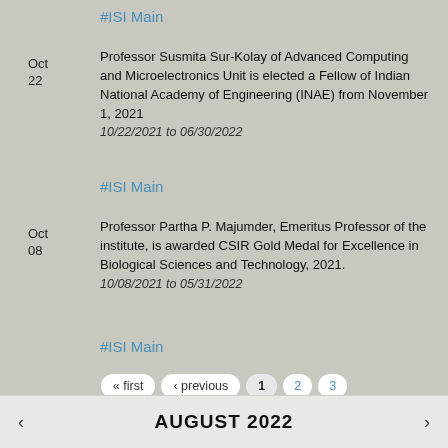#ISI Main
Oct 22
Professor Susmita Sur-Kolay of Advanced Computing and Microelectronics Unit is elected a Fellow of Indian National Academy of Engineering (INAE) from November 1, 2021
10/22/2021 to 06/30/2022
#ISI Main
Oct 08
Professor Partha P. Majumder, Emeritus Professor of the institute, is awarded CSIR Gold Medal for Excellence in Biological Sciences and Technology, 2021.
10/08/2021 to 05/31/2022
#ISI Main
« first ‹ previous 1 2 3 4 5 … next › last »
< AUGUST 2022 >